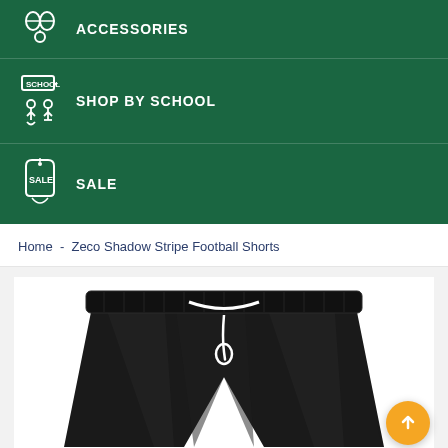ACCESSORIES
SHOP BY SCHOOL
SALE
Home  -  Zeco Shadow Stripe Football Shorts
[Figure (photo): Black football shorts with white drawstring, displayed against white background. Orange scroll-to-top button visible in bottom right corner.]